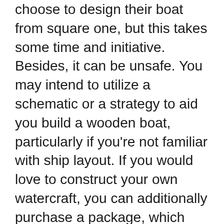choose to design their boat from square one, but this takes some time and initiative. Besides, it can be unsafe. You may intend to utilize a schematic or a strategy to aid you build a wooden boat, particularly if you're not familiar with ship layout. If you would love to construct your own watercraft, you can additionally purchase a package, which includes the tools you require.
Plows
If you're into bring back antique things for your house, you might wish to take into consideration making Plows for woodworking. This conventional tool looks like the old fashioned rake that is pulled by horses. You can position it in a blossom bed or even in your yard. You can acquire a full